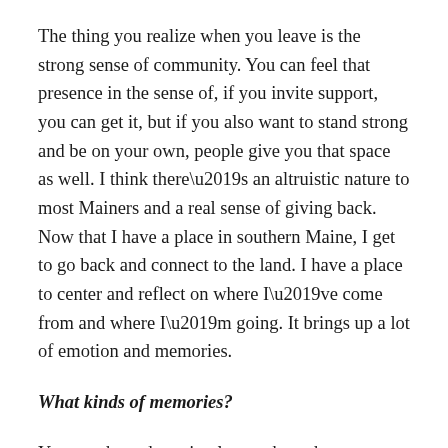The thing you realize when you leave is the strong sense of community. You can feel that presence in the sense of, if you invite support, you can get it, but if you also want to stand strong and be on your own, people give you that space as well. I think there’s an altruistic nature to most Mainers and a real sense of giving back. Now that I have a place in southern Maine, I get to go back and connect to the land. I have a place to center and reflect on where I’ve come from and where I’m going. It brings up a lot of emotion and memories.
What kinds of memories?
You see the sadness in places where the businesses and way of life are gone—the ghosts of the past in old mill towns. Then you’ll see something like